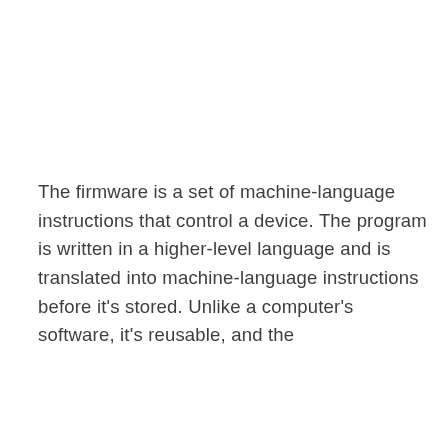The firmware is a set of machine-language instructions that control a device. The program is written in a higher-level language and is translated into machine-language instructions before it's stored. Unlike a computer's software, it's reusable, and the